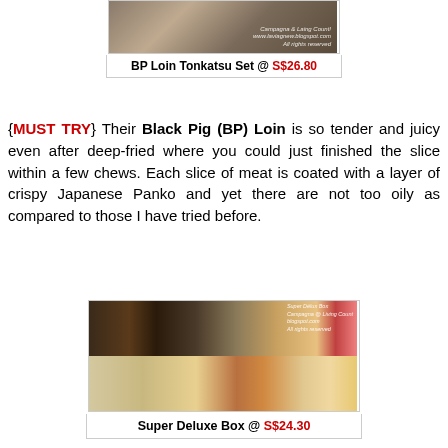[Figure (photo): Photo of BP Loin Tonkatsu Set dish from above]
BP Loin Tonkatsu Set @ S$26.80
{MUST TRY} Their Black Pig (BP) Loin is so tender and juicy even after deep-fried where you could just finished the slice within a few chews. Each slice of meat is coated with a layer of crispy Japanese Panko and yet there are not too oily as compared to those I have tried before.
[Figure (photo): Photo of Super Deluxe Box meal with noodles, tempura, sauces, and various side dishes]
Super Deluxe Box @ S$24.30